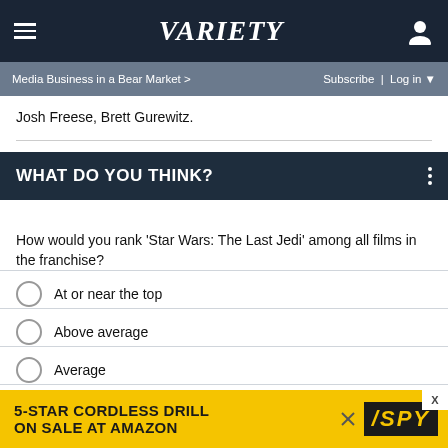Variety
Media Business in a Bear Market > Subscribe | Log in
Josh Freese, Brett Gurewitz.
WHAT DO YOU THINK?
How would you rank 'Star Wars: The Last Jedi' among all films in the franchise?
At or near the top
Above average
Average
Below average
Other / No opinion
[Figure (screenshot): Ad banner: 5-STAR CORDLESS DRILL ON SALE AT AMAZON / SPY logo]